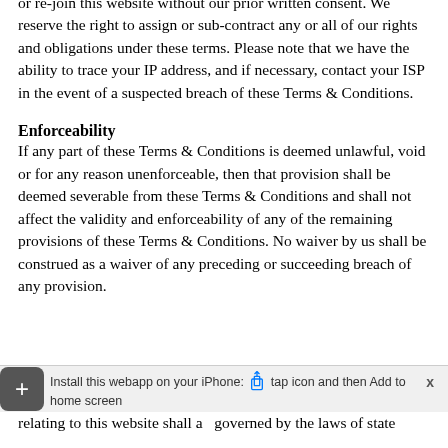or re-join this website without our prior written consent. We reserve the right to assign or sub-contract any or all of our rights and obligations under these terms. Please note that we have the ability to trace your IP address, and if necessary, contact your ISP in the event of a suspected breach of these Terms & Conditions.
Enforceability
If any part of these Terms & Conditions is deemed unlawful, void or for any reason unenforceable, then that provision shall be deemed severable from these Terms & Conditions and shall not affect the validity and enforceability of any of the remaining provisions of these Terms & Conditions. No waiver by us shall be construed as a waiver of any preceding or succeeding breach of any provision.
Governing law
relating to this website shall a   governed by the laws of state